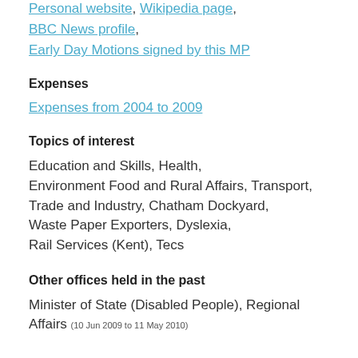Personal website, Wikipedia page, BBC News profile, Early Day Motions signed by this MP
Expenses
Expenses from 2004 to 2009
Topics of interest
Education and Skills, Health, Environment Food and Rural Affairs, Transport, Trade and Industry, Chatham Dockyard, Waste Paper Exporters, Dyslexia, Rail Services (Kent), Tecs
Other offices held in the past
Minister of State (Disabled People), Regional Affairs (10 Jun 2009 to 11 May 2010)